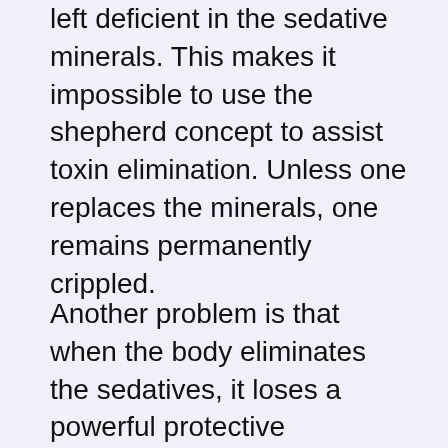left deficient in the sedative minerals. This makes it impossible to use the shepherd concept to assist toxin elimination. Unless one replaces the minerals, one remains permanently crippled.
Another problem is that when the body eliminates the sedatives, it loses a powerful protective mechanism that keeps out toxic substances. Without enough calcium,